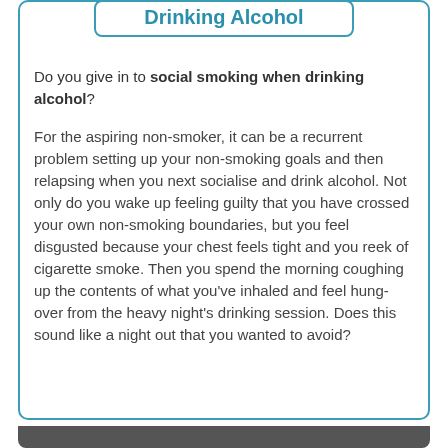Drinking Alcohol
Do you give in to social smoking when drinking alcohol?
For the aspiring non-smoker, it can be a recurrent problem setting up your non-smoking goals and then relapsing when you next socialise and drink alcohol. Not only do you wake up feeling guilty that you have crossed your own non-smoking boundaries, but you feel disgusted because your chest feels tight and you reek of cigarette smoke. Then you spend the morning coughing up the contents of what you've inhaled and feel hung-over from the heavy night's drinking session. Does this sound like a night out that you wanted to avoid?